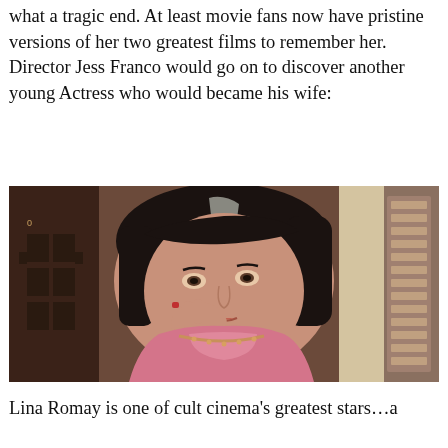what a tragic end. At least movie fans now have pristine versions of her two greatest films to remember her. Director Jess Franco would go on to discover another young Actress who would became his wife:
[Figure (photo): A young woman with a dark bob haircut and side-swept bangs, wearing a pink sleeveless top with decorative embroidery and a necklace, resting her hand against her cheek. The background shows a ornate decorated wall and a window.]
Lina Romay is one of cult cinema's greatest stars…a